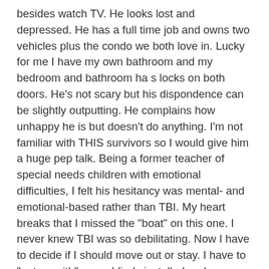besides watch TV. He looks lost and depressed. He has a full time job and owns two vehicles plus the condo we both love in. Lucky for me I have my own bathroom and my bedroom and bathroom ha s locks on both doors. He's not scary but his dispondence can be slightly outputting. He complains how unhappy he is but doesn't do anything. I'm not familiar with THIS survivors so I would give him a huge pep talk. Being a former teacher of special needs children with emotional difficulties, I felt his hesitancy was mental- and emotional-based rather than TBI. My heart breaks that I missed the "boat" on this one. I never knew TBI was so debilitating. Now I have to decide if I should move out or stay. I have to "put up with" some blinds installed and some blind's not installed and an air conditioner that is in desperate need of being serviced. Any help is greatly appreciated. Thanks...